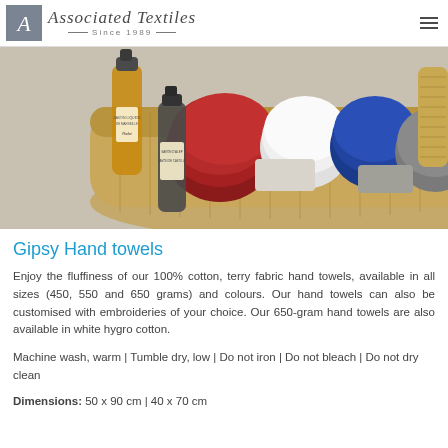Associated Textiles — Since 1989
[Figure (photo): A wicker basket tray containing colorful rolled hand towels in red, white, blue, and grey colors, along with soap bars and soap dispensers.]
Gipsy Hand towels
Enjoy the fluffiness of our 100% cotton, terry fabric hand towels, available in all sizes (450, 550 and 650 grams) and colours. Our hand towels can also be customised with embroideries of your choice. Our 650-gram hand towels are also available in white hygro cotton.
Machine wash, warm | Tumble dry, low | Do not iron | Do not bleach | Do not dry clean
Dimensions: 50 x 90 cm | 40 x 70 cm